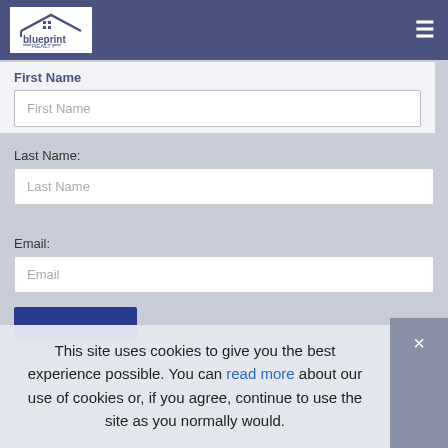Blueprint Realty
First Name
Last Name:
Email:
This site uses cookies to give you the best experience possible. You can read more about our use of cookies or, if you agree, continue to use the site as you normally would.